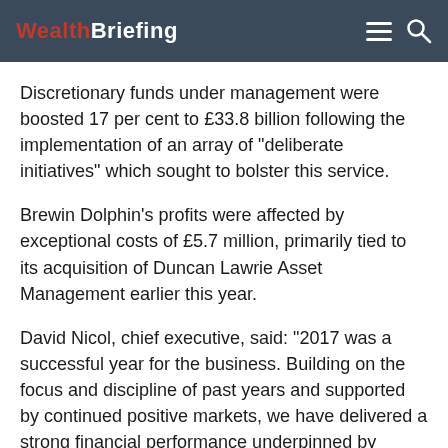WealthBriefing
Discretionary funds under management were boosted 17 per cent to £33.8 billion following the implementation of an array of “deliberate initiatives” which sought to bolster this service.
Brewin Dolphin’s profits were affected by exceptional costs of £5.7 million, primarily tied to its acquisition of Duncan Lawrie Asset Management earlier this year.
David Nicol, chief executive, said: "2017 was a successful year for the business. Building on the focus and discipline of past years and supported by continued positive markets, we have delivered a strong financial performance underpinned by